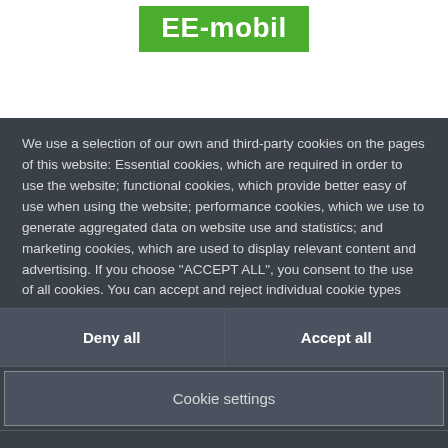[Figure (logo): EE-mobil logo — white bold text on green background]
We use a selection of our own and third-party cookies on the pages of this website: Essential cookies, which are required in order to use the website; functional cookies, which provide better easy of use when using the website; performance cookies, which we use to generate aggregated data on website use and statistics; and marketing cookies, which are used to display relevant content and advertising. If you choose "ACCEPT ALL", you consent to the use of all cookies. You can accept and reject individual cookie types
Deny all
Accept all
Cookie settings